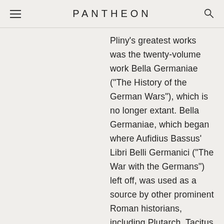PANTHEON
Pliny's greatest works was the twenty-volume work Bella Germaniae ("The History of the German Wars"), which is no longer extant. Bella Germaniae, which began where Aufidius Bassus' Libri Belli Germanici ("The War with the Germans") left off, was used as a source by other prominent Roman historians, including Plutarch, Tacitus and Suetonius. Tacitus—who many scholars agree had never travelled in